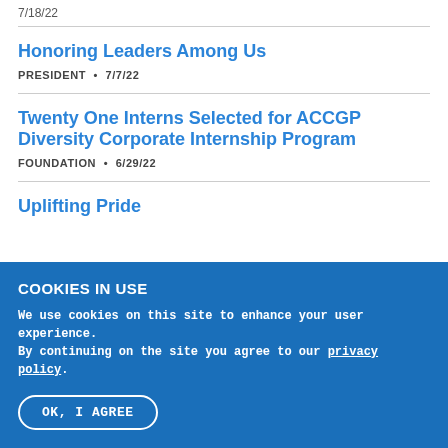7/18/22
Honoring Leaders Among Us
PRESIDENT • 7/7/22
Twenty One Interns Selected for ACCGP Diversity Corporate Internship Program
FOUNDATION • 6/29/22
Uplifting Pride
COOKIES IN USE
We use cookies on this site to enhance your user experience. By continuing on the site you agree to our privacy policy.
OK, I AGREE